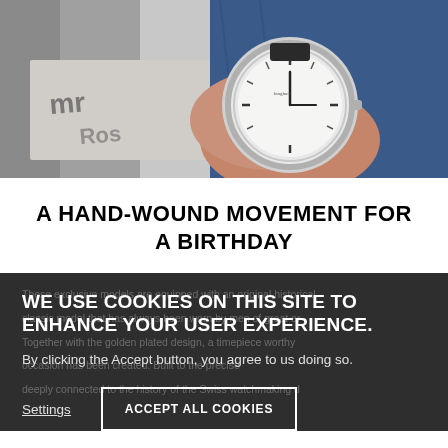[Figure (photo): Close-up photo of a wristwatch with white dial being worn, with a blue sweater sleeve visible and dark surface with text in background]
A HAND-WOUND MOVEMENT FOR A BIRTHDAY
WE USE COOKIES ON THIS SITE TO ENHANCE YOUR USER EXPERIENCE
By clicking the Accept button, you agree to us doing so.
Settings
ACCEPT ALL COOKIES